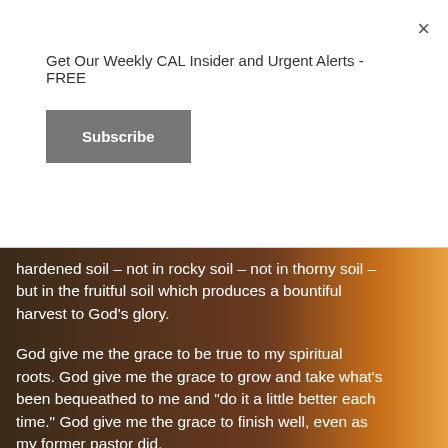Get Our Weekly CAL Insider and Urgent Alerts - FREE
Subscribe
hardened soil – not in rocky soil – not in thorny soil – but in the fruitful soil which produces a bountiful harvest to God's glory.
God give me the grace to be true to my spiritual roots. God give me the grace to grow and take what's been bequeathed to me and "do it a little better each time." God give me the grace to finish well, even as my former pastor did.
May God comfort and strengthen the family of the man who was beloved and blessed so